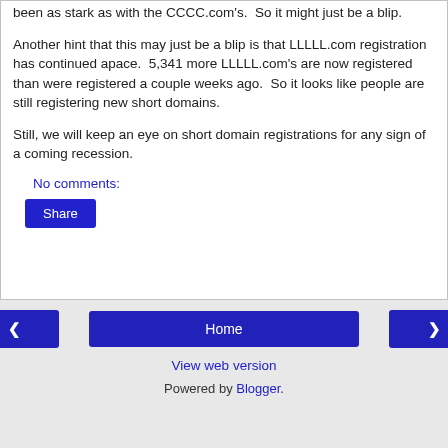been as stark as with the CCCC.com's.  So it might just be a blip.
Another hint that this may just be a blip is that LLLLL.com registration has continued apace.  5,341 more LLLLL.com's are now registered than were registered a couple weeks ago.  So it looks like people are still registering new short domains.
Still, we will keep an eye on short domain registrations for any sign of a coming recession.
No comments:
Share
Home
View web version
Powered by Blogger.